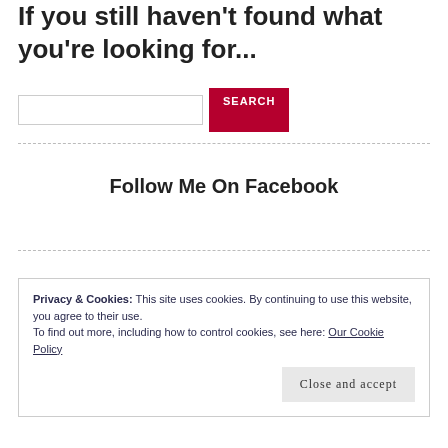If you still haven't found what you're looking for...
[Figure (other): Search input field with SEARCH button]
Follow Me On Facebook
Privacy & Cookies: This site uses cookies. By continuing to use this website, you agree to their use.
To find out more, including how to control cookies, see here: Our Cookie Policy
Close and accept